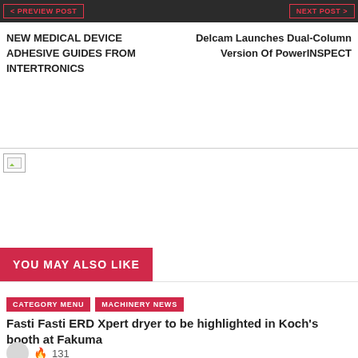< PREVIEW POST | NEXT POST >
NEW MEDICAL DEVICE ADHESIVE GUIDES FROM INTERTRONICS
Delcam Launches Dual-Column Version Of PowerINSPECT
[Figure (photo): Broken image placeholder]
YOU MAY ALSO LIKE
CATEGORY MENU
MACHINERY NEWS
Fasti Fasti ERD Xpert dryer to be highlighted in Koch's booth at Fakuma
131